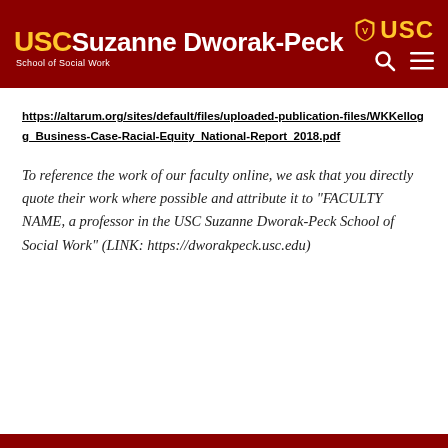USC Suzanne Dworak-Peck School of Social Work
https://altarum.org/sites/default/files/uploaded-publication-files/WKKellogg_Business-Case-Racial-Equity_National-Report_2018.pdf
To reference the work of our faculty online, we ask that you directly quote their work where possible and attribute it to “FACULTY NAME, a professor in the USC Suzanne Dworak-Peck School of Social Work” (LINK: https://dworakpeck.usc.edu)